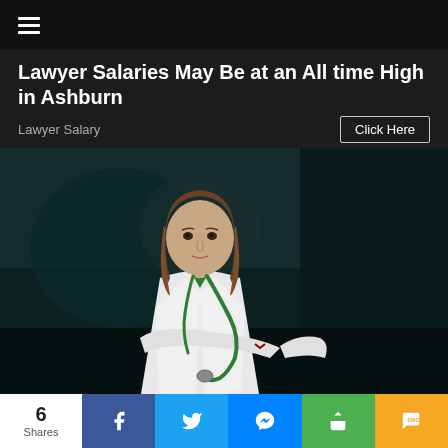☰
Lawyer Salaries May Be at an All time High in Ashburn
Lawyer Salary
Click Here
[Figure (photo): Woman in white doctor coat with green stethoscope, arms crossed, serious expression, dark background]
6 Shares
f (Facebook share button)
Twitter share button
Messenger share button
Share button
SMS button